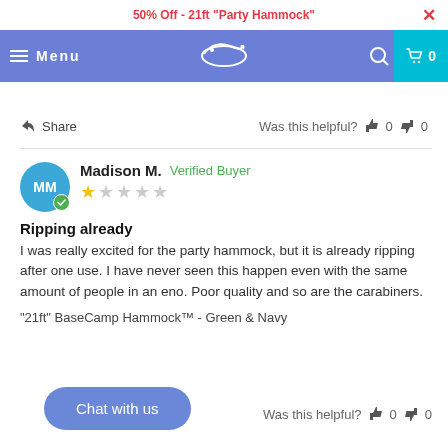50% Off - 21ft "Party Hammock"
[Figure (screenshot): Website navigation bar with blue background, hamburger menu, 'Menu' text, logo (flying bird), search icon, and cart icon with 0]
Share   Was this helpful? 0 0
Madison M.   Verified Buyer
★☆☆☆☆
Ripping already
I was really excited for the party hammock, but it is already ripping after one use. I have never seen this happen even with the same amount of people in an eno. Poor quality and so are the carabiners.
"21ft" BaseCamp Hammock™ - Green & Navy
Was this helpful? 0 0
Chat with us